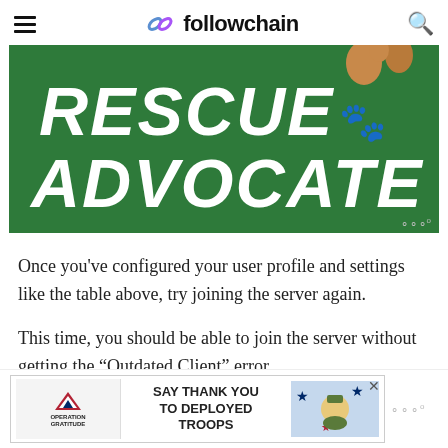followchain
[Figure (photo): Green banner image with white bold italic text reading RESCUE ADVOCATE, with dog paws visible at top right]
Once you've configured your user profile and settings like the table above, try joining the server again.
This time, you should be able to join the server without getting the “Outdated Client” error.
[Figure (photo): Advertisement banner: Operation Gratitude - SAY THANK YOU TO DEPLOYED TROOPS]